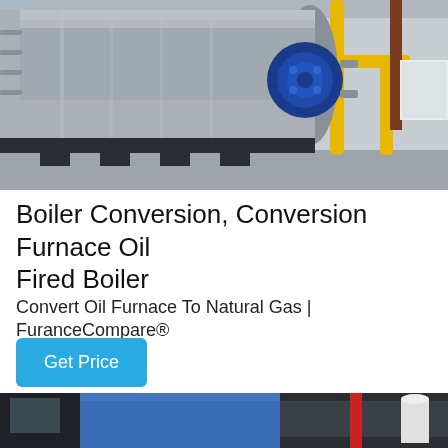[Figure (photo): Industrial boiler with blue motor/burner assembly mounted on the front, stainless steel tank, yellow gas pipes visible in background, inside an industrial facility]
Boiler Conversion, Conversion Furnace Oil Fired Boiler
Convert Oil Furnace To Natural Gas | FuranceCompare®
Get Price
[Figure (photo): Industrial boiler setup in a facility with a large cylindrical blue tank, red structural elements, and a white cylindrical component visible, inside a dark industrial building]